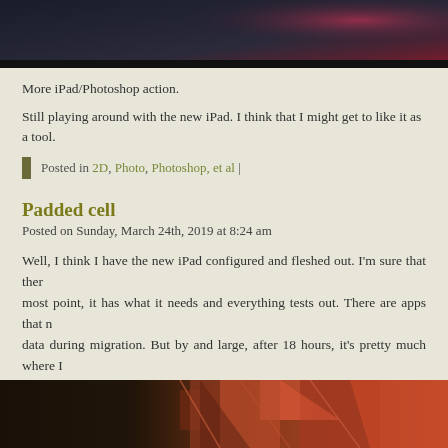[Figure (photo): Dark abstract image with reddish-pink gradient, top portion of page]
More iPad/Photoshop action.
Still playing around with the new iPad. I think that I might get to like it as a tool.
Posted in 2D, Photo, Photoshop, et al |
Padded cell
Posted on Sunday, March 24th, 2019 at 8:24 am
Well, I think I have the new iPad configured and fleshed out. I'm sure that there are things I've missed, but for the most point, it has what it needs and everything tests out. There are apps that need to be reinstalled and some data during migration. But by and large, after 18 hours, it's pretty much where I want it to be. The Pencil works very well. It's nice to have iWork on board.
Myka has been happy in the LZB in my absence. I need to make something for dinner. Time to develop a sustainable menu.
[Figure (photo): Dark abstract geometric image with triangular shapes in brown/terracotta tones, bottom portion of page]